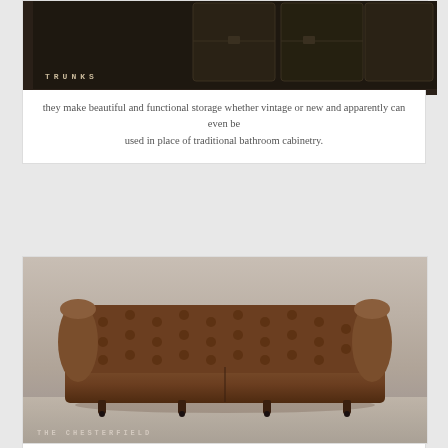[Figure (photo): Photo of vintage trunks/storage cases in a dark setting with the label 'TRUNKS' overlaid in spaced lettering]
they make beautiful and functional storage whether vintage or new and apparently can even be used in place of traditional bathroom cabinetry.
[Figure (photo): Photo of a Chesterfield leather sofa (brown tufted) on a light wood floor with label 'THE CHESTERFIELD' overlaid]
most guys love leather sofas, the chesterfield, dating back to the 18th century is one of the most classic ones there is. in my opinion, when in high quality brown leather, it never goes out of style and could easily become an heirloom. this particular one is from restoration hardware.
[Figure (photo): Partial view of another furniture item at the bottom of the page]